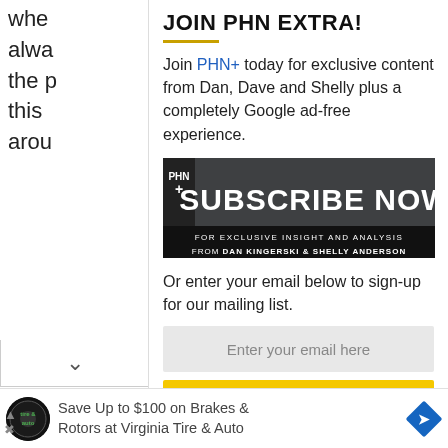whe alwa the p this arou
JOIN PHN EXTRA!
Join PHN+ today for exclusive content from Dan, Dave and Shelly plus a completely Google ad-free experience.
[Figure (infographic): PHN+ Subscribe Now banner: black background with large bold white text SUBSCRIBE NOW, smaller text FOR EXCLUSIVE INSIGHT AND ANALYSIS FROM DAN KINGERSKI & SHELLY ANDERSON]
Or enter your email below to sign-up for our mailing list.
Enter your email here
SIGN UP NOW
[Figure (infographic): Advertisement: Save Up to $100 on Brakes & Rotors at Virginia Tire & Auto with tire & auto logo and blue diamond navigation icon]